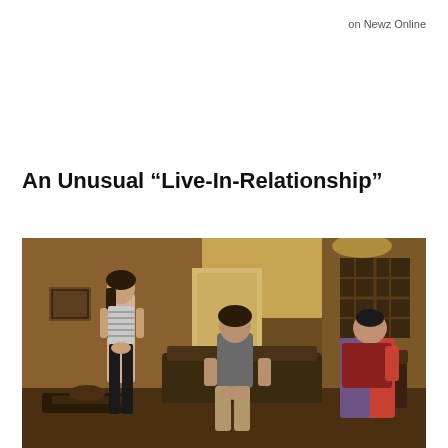on Newz Online
An Unusual “Live-In-Relationship”
[Figure (photo): A still from a film or web series showing three people in a living room: a young woman in a striped tank top and black pants standing on the left, a young man in a grey t-shirt sitting in a chair in the center, and an older woman in a colorful sari sitting on the right. The room has warm amber/brown tones.]